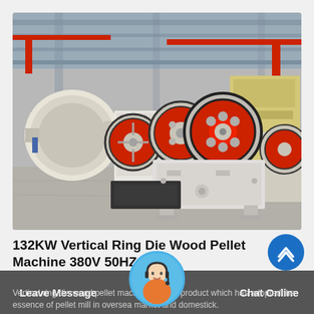[Figure (photo): Factory floor photograph showing multiple jaw crushers (industrial rock/material crushing machines) with red and white flywheels, in a large industrial warehouse with cranes visible in the background. Machines are cream/white colored with red circular wheel components.]
132KW Vertical Ring Die Wood Pellet Machine 380V 50HZ
Vertical ring die wood pellet machine is main product which has adopted the essence of pellet mill in oversea market and domestick.